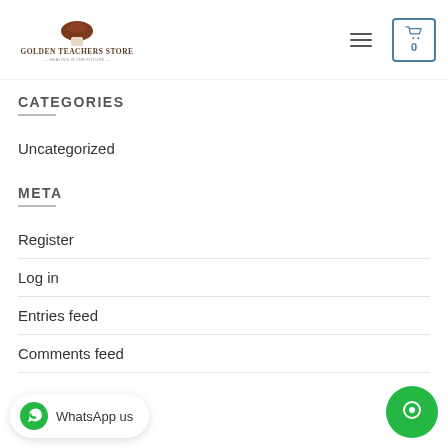Golden Teachers Store
CATEGORIES
Uncategorized
META
Register
Log in
Entries feed
Comments feed